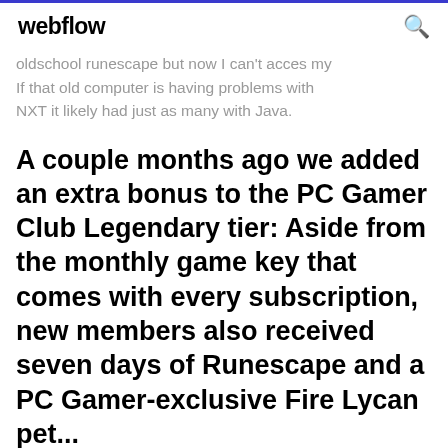webflow
oldschool runescape but now I can't acces my If that old computer is having problems with NXT it likely had just as many with Java.
A couple months ago we added an extra bonus to the PC Gamer Club Legendary tier: Aside from the monthly game key that comes with every subscription, new members also received seven days of Runescape and a PC Gamer-exclusive Fire Lycan pet...